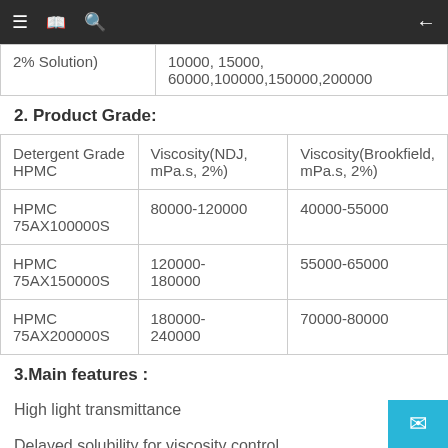Navigation header with menu, book, search icons and back arrow
| 2% Solution) | 10000, 15000, 60000,100000,150000,200000 |
2. Product Grade:
| Detergent Grade HPMC | Viscosity(NDJ, mPa.s, 2%) | Viscosity(Brookfield, mPa.s, 2%) |
| --- | --- | --- |
| HPMC 75AX100000S | 80000-120000 | 40000-55000 |
| HPMC 75AX150000S | 120000-180000 | 55000-65000 |
| HPMC 75AX200000S | 180000-240000 | 70000-80000 |
3.Main features :
High light transmittance
Delayed solubility for viscosity control